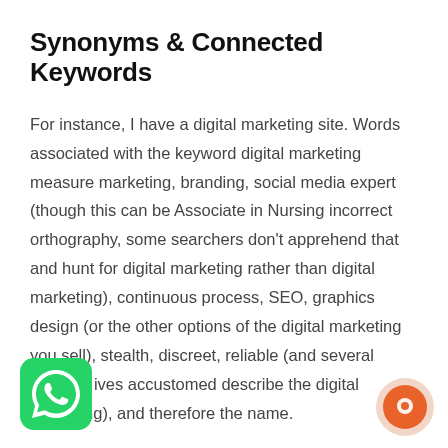Synonyms & Connected Keywords
For instance, I have a digital marketing site. Words associated with the keyword digital marketing measure marketing, branding, social media expert (though this can be Associate in Nursing incorrect orthography, some searchers don’t apprehend that and hunt for digital marketing rather than digital marketing), continuous process, SEO, graphics design (or the other options of the digital marketing you sell), stealth, discreet, reliable (and several different ives accustomed describe the digital marketing), and therefore the name.